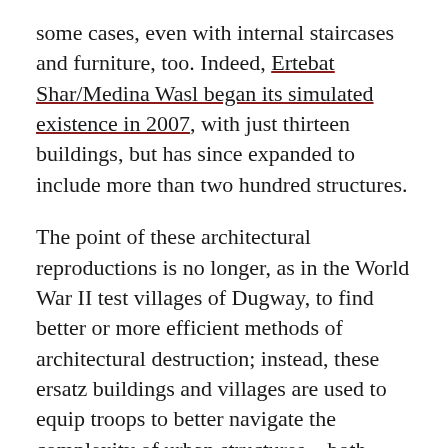some cases, even with internal staircases and furniture, too. Indeed, Ertebat Shar/Medina Wasl began its simulated existence in 2007, with just thirteen buildings, but has since expanded to include more than two hundred structures.
The point of these architectural reproductions is no longer, as in the World War II test villages of Dugway, to find better or more efficient methods of architectural destruction; instead, these ersatz buildings and villages are used to equip troops to better navigate the complexity of urban structures—both physical, and, perhaps most importantly, socio-cultural.
In other words, at the most basic level, soldiers will use